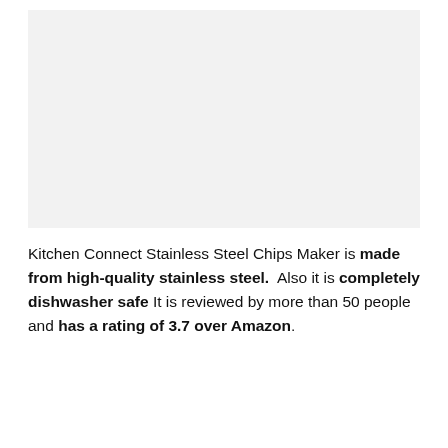[Figure (photo): Product image placeholder — light gray rectangle representing the Kitchen Connect Stainless Steel Chips Maker product photo]
Kitchen Connect Stainless Steel Chips Maker is made from high-quality stainless steel. Also it is completely dishwasher safe It is reviewed by more than 50 people and has a rating of 3.7 over Amazon.